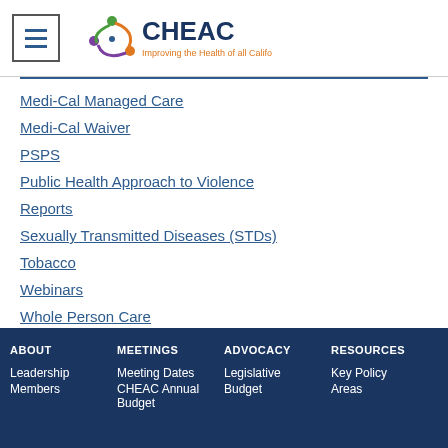CHEAC – Improving the Health of all Californians
Medi-Cal Managed Care
Medi-Cal Waiver
PSPS
Public Health Approach to Violence
Reports
Sexually Transmitted Diseases (STDs)
Tobacco
Webinars
Whole Person Care
Wildfires
ABOUT | MEETINGS | ADVOCACY | RESOURCES | Leadership | Members | Meeting Dates | CHEAC Annual Budget | Legislative | Key Policy Areas